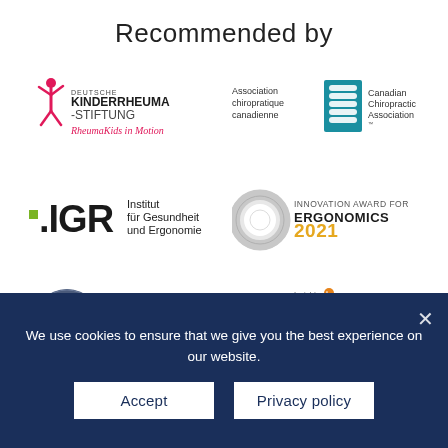Recommended by
[Figure (logo): Deutsche Kinderrheuma-Stiftung logo with pink figure and text 'RheumaKids in Motion']
[Figure (logo): Canadian Chiropractic Association / Association chiropratique canadienne logo with teal spine graphic]
[Figure (logo): .IGR Institut für Gesundheit und Ergonomie logo]
[Figure (logo): Innovation Award for Ergonomics 2021 logo with metallic ring]
[Figure (logo): Active Air FLX 38% shoulder 62% hip and back badge with text 'Laboratory tested weight distribution by NORCE']
[Figure (logo): Insights Special Award Ergonomics 2021 logo with metallic ring]
We use cookies to ensure that we give you the best experience on our website.
Accept
Privacy policy